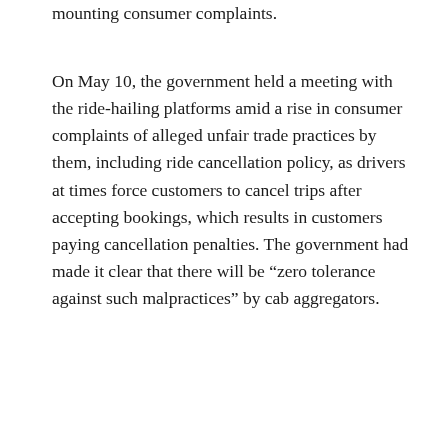mounting consumer complaints.
On May 10, the government held a meeting with the ride-hailing platforms amid a rise in consumer complaints of alleged unfair trade practices by them, including ride cancellation policy, as drivers at times force customers to cancel trips after accepting bookings, which results in customers paying cancellation penalties. The government had made it clear that there will be “zero tolerance against such malpractices” by cab aggregators.